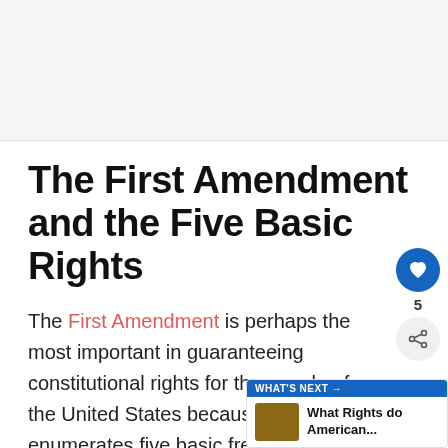[Figure (other): Gray banner/advertisement area at top of page]
The First Amendment and the Five Basic Rights
The First Amendment is perhaps the most important in guaranteeing constitutional rights for the people of the United States because it enumerates five basic freedoms. They are:
Freedom of religion
Freedom of speech
Freedom of th...